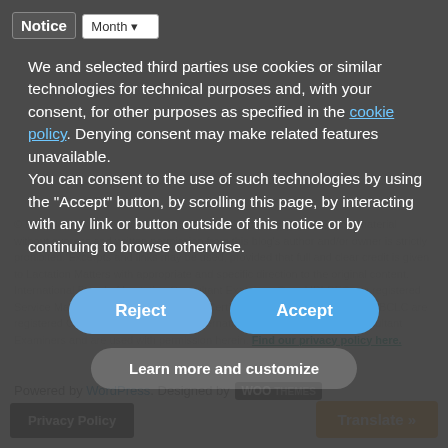Notice | Select Month
We and selected third parties use cookies or similar technologies for technical purposes and, with your consent, for other purposes as specified in the cookie policy. Denying consent may make related features unavailable.
You can consent to the use of such technologies by using the “Accept” button, by scrolling this page, by interacting with any link or button outside of this notice or by continuing to browse otherwise.
Reject
Accept
Learn more and customize
© Lactation Matters, 2019. Unauthorized use and/or duplication of this material without express and written permission from this blog’s author and/or owner is strictly prohibited. Excerpts and links may be used, provided that full and clear credit is given to Lactation Matters with appropriate and specific direction to the original content. International Board of Lactation Consultant Examiners® and IBLCE® are registered Service Marks, and International Board Certified Lactation Consultant and IBCLC are registered Certification Marks, of the International Board of Lactation Consultant Examiners and are used with permission herein. Find our privacy policy here.
Powered by WordPress. Designed by WOO THEMES
Privacy Policy
Translate »